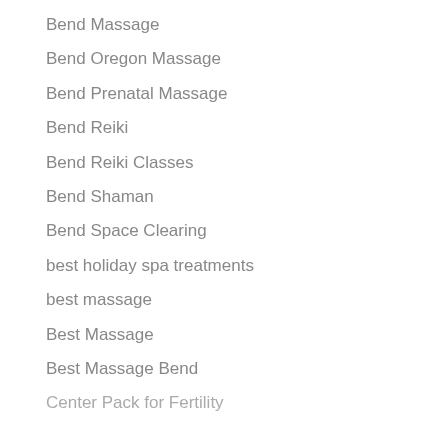Bend Massage
Bend Oregon Massage
Bend Prenatal Massage
Bend Reiki
Bend Reiki Classes
Bend Shaman
Bend Space Clearing
best holiday spa treatments
best massage
Best Massage
Best Massage Bend
Center Pack for Fertility